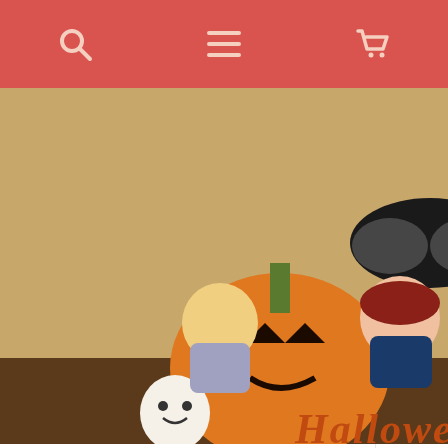Navigation bar with search, menu, and cart icons
[Figure (photo): Halloween-themed anime merchandise photo showing chibi figures (Demon Slayer characters), jack-o-lanterns, ghost decorations, a 'Boo' balloon, black mask decoration, and a 'Halloween' wooden sign on a table]
🎃Halloween Photo Contest🎃Take a Picture of Your Favorite Anime Merch!
2019-10-09 Mafuyu
📰 See More Articles →
# Tap to Refine